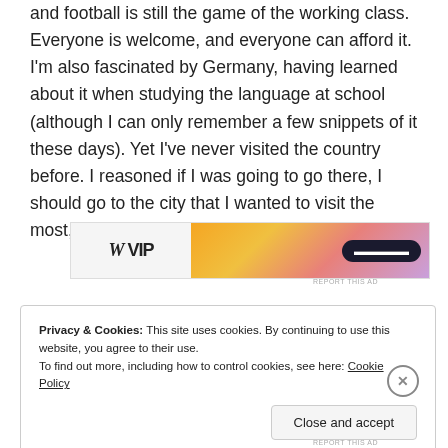and football is still the game of the working class. Everyone is welcome, and everyone can afford it. I'm also fascinated by Germany, having learned about it when studying the language at school (although I can only remember a few snippets of it these days). Yet I've never visited the country before. I reasoned if I was going to go there, I should go to the city that I wanted to visit the most, purely for football reasons.
[Figure (other): Advertisement banner with 'W VIP' logo on left and gradient orange-to-purple background on right with a dark button]
Privacy & Cookies: This site uses cookies. By continuing to use this website, you agree to their use.
To find out more, including how to control cookies, see here: Cookie Policy
Close and accept